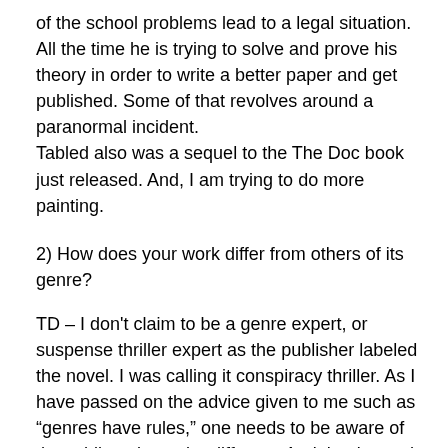of the school problems lead to a legal situation. All the time he is trying to solve and prove his theory in order to write a better paper and get published. Some of that revolves around a paranormal incident. Tabled also was a sequel to the The Doc book just released. And, I am trying to do more painting.
2) How does your work differ from others of its genre?
TD – I don't claim to be a genre expert, or suspense thriller expert as the publisher labeled the novel. I was calling it conspiracy thriller. As I have passed on the advice given to me such as “genres have rules,” one needs to be aware of that while trying to be different. And that is tough, trying to be original. The Doc has a lot of the subculture of Civil War re-enacting in it. There has been re-enactors in movies like Sweet Home Alabama and